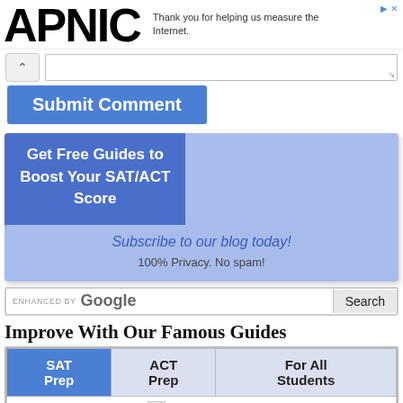APNIC — Thank you for helping us measure the Internet.
[Figure (screenshot): Comment textarea with caret button and resize handle]
Submit Comment
[Figure (infographic): Promotional box: Get Free Guides to Boost Your SAT/ACT Score. Subscribe to our blog today! 100% Privacy. No spam!]
ENHANCED BY Google  Search
Improve With Our Famous Guides
| SAT Prep | ACT Prep | For All Students |
| --- | --- | --- |
| image description |  |  |